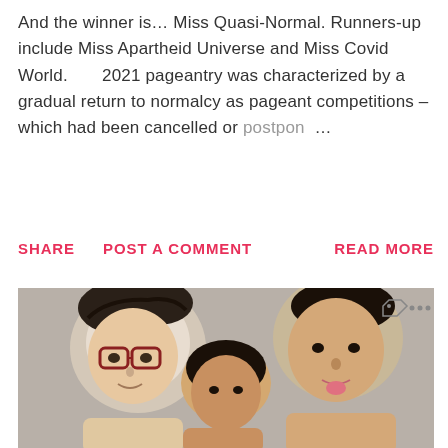And the winner is... Miss Quasi-Normal. Runners-up include Miss Apartheid Universe and Miss Covid World.      2021 pageantry was characterized by a gradual return to normalcy as pageant competitions – which had been cancelled or postpon ...
SHARE   POST A COMMENT   READ MORE
[Figure (photo): Selfie photo of three young people posing together closely; person on left wearing glasses, person in middle, person on right; casual indoor setting]